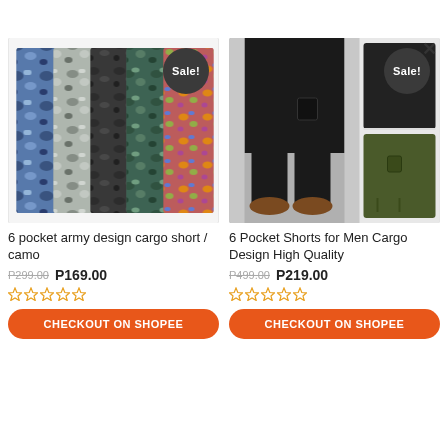[Figure (photo): Folded camouflage cargo shorts in multiple color patterns (blue camo, grey camo, green camo, pink/floral camo) with Sale! badge]
[Figure (photo): Man wearing black cargo shorts from behind, with small images of black and olive green cargo shorts on the right, Sale! badge visible]
6 pocket army design cargo short / camo
P299.00 P169.00
6 Pocket Shorts for Men Cargo Design High Quality
P499.00 P219.00